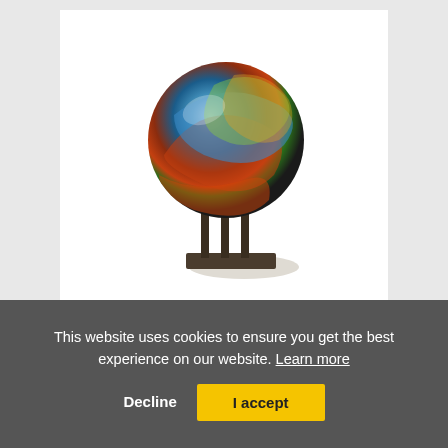[Figure (photo): A decorative glass sphere with colorful swirling patterns (blue, orange, red, green) mounted on a dark metal tripod stand with a rectangular base, displayed on a white background.]
Meteorite M02
This website uses cookies to ensure you get the best experience on our website. Learn more
Decline
I accept